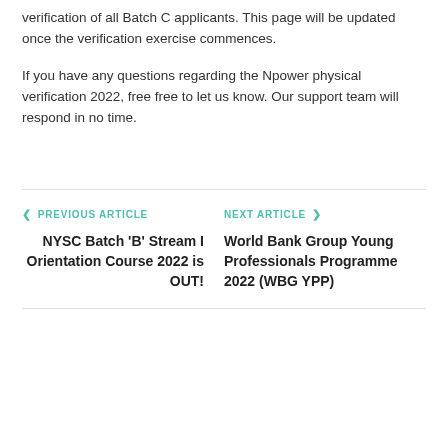verification of all Batch C applicants. This page will be updated once the verification exercise commences.
If you have any questions regarding the Npower physical verification 2022, free free to let us know. Our support team will respond in no time.
< PREVIOUS ARTICLE
NYSC Batch 'B' Stream I Orientation Course 2022 is OUT!
NEXT ARTICLE >
World Bank Group Young Professionals Programme 2022 (WBG YPP)